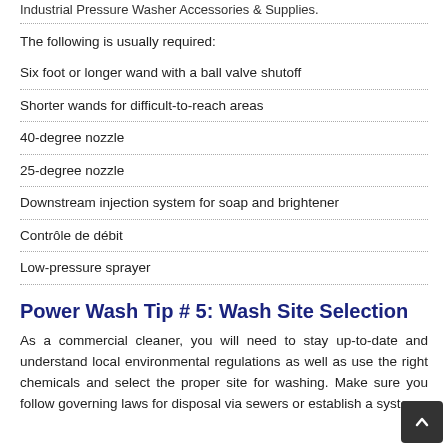Industrial Pressure Washer Accessories & Supplies.
The following is usually required:
Six foot or longer wand with a ball valve shutoff
Shorter wands for difficult-to-reach areas
40-degree nozzle
25-degree nozzle
Downstream injection system for soap and brightener
Contrôle de débit
Low-pressure sprayer
Power Wash Tip # 5: Wash Site Selection
As a commercial cleaner, you will need to stay up-to-date and understand local environmental regulations as well as use the right chemicals and select the proper site for washing. Make sure you follow governing laws for disposal via sewers or establish a system